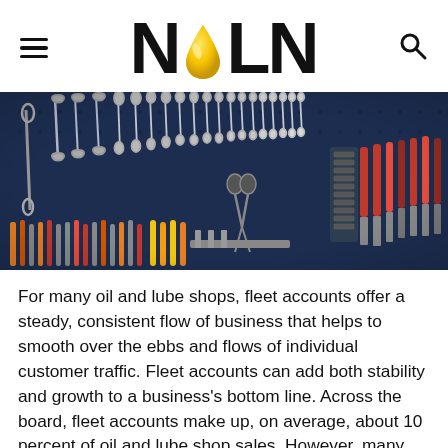NOLN — Navigation header with hamburger menu, NOLN logo, and search icon
[Figure (photo): A dark blue pegboard wall covered with rows of wrenches, screwdrivers, scissors, and various mechanic hand tools organized in a workshop setting.]
For many oil and lube shops, fleet accounts offer a steady, consistent flow of business that helps to smooth over the ebbs and flows of individual customer traffic. Fleet accounts can add both stability and growth to a business's bottom line. Across the board, fleet accounts make up, on average, about 10 percent of oil and lube shop sales. However, many